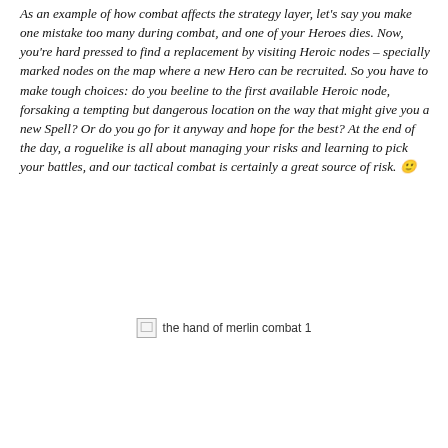As an example of how combat affects the strategy layer, let's say you make one mistake too many during combat, and one of your Heroes dies. Now, you're hard pressed to find a replacement by visiting Heroic nodes – specially marked nodes on the map where a new Hero can be recruited. So you have to make tough choices: do you beeline to the first available Heroic node, forsaking a tempting but dangerous location on the way that might give you a new Spell? Or do you go for it anyway and hope for the best? At the end of the day, a roguelike is all about managing your risks and learning to pick your battles, and our tactical combat is certainly a great source of risk. 🙂
[Figure (photo): Broken image placeholder labeled 'the hand of merlin combat 1']